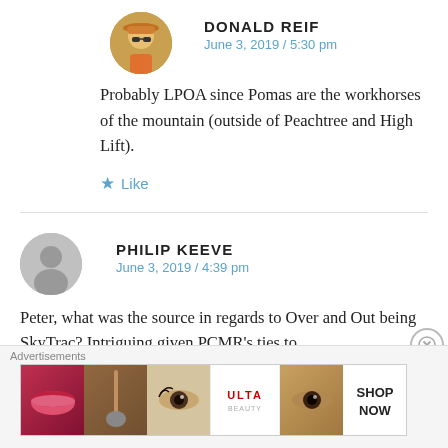DONALD REIF
June 3, 2019 / 5:30 pm
Probably LPOA since Pomas are the workhorses of the mountain (outside of Peachtree and High Lift).
★ Like
PHILIP KEEVE
June 3, 2019 / 4:39 pm
Peter, what was the source in regards to Over and Out being SkyTrac? Intriguing given PCMR's ties to
Advertisements